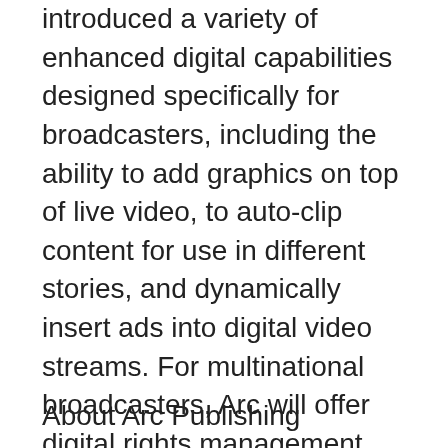introduced a variety of enhanced digital capabilities designed specifically for broadcasters, including the ability to add graphics on top of live video, to auto-clip content for use in different stories, and dynamically insert ads into digital video streams. For multinational broadcasters, Arc will offer digital rights management and the ability to target content to publish in specific time zones. Newsrooms will also have access to Broadcast, Arc's cutting-edge, new live video app which allows journalists to stream high-quality live video to multiple sites and social platforms simultaneously. Broadcast, which debuted in July, was developed in collaboration with Graham Media Group, which is in the process of migrating to the full Arc platform.
About Arc Publishing